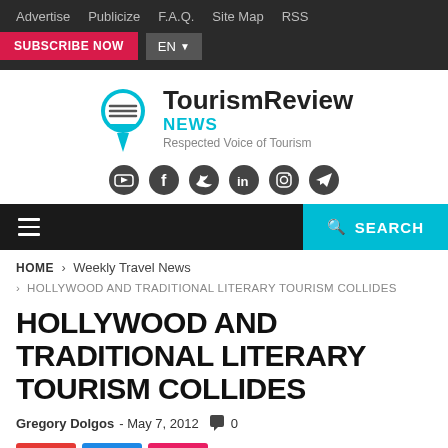Advertise   Publicize   F.A.Q.   Site Map   RSS
SUBSCRIBE NOW   EN
[Figure (logo): TourismReview News logo with map pin icon and social media icons]
SEARCH
HOME > Weekly Travel News > HOLLYWOOD AND TRADITIONAL LITERARY TOURISM COLLIDES
HOLLYWOOD AND TRADITIONAL LITERARY TOURISM COLLIDES
Gregory Dolgos - May 7, 2012  0